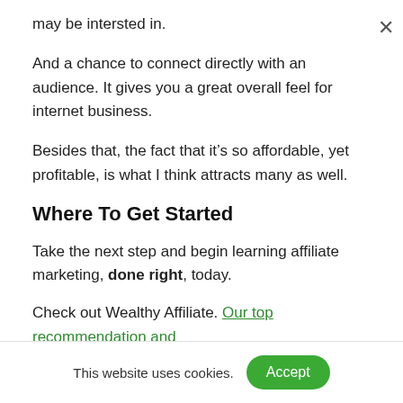may be intersted in.
And a chance to connect directly with an audience. It gives you a great overall feel for internet business.
Besides that, the fact that it's so affordable, yet profitable, is what I think attracts many as well.
Where To Get Started
Take the next step and begin learning affiliate marketing, done right, today.
Check out Wealthy Affiliate. Our top recommendation and favorite learning platform
This website uses cookies. Accept